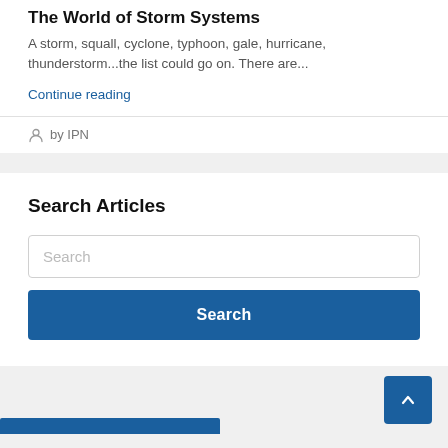The World of Storm Systems
A storm, squall, cyclone, typhoon, gale, hurricane, thunderstorm...the list could go on. There are...
Continue reading
by IPN
Search Articles
Search
Search